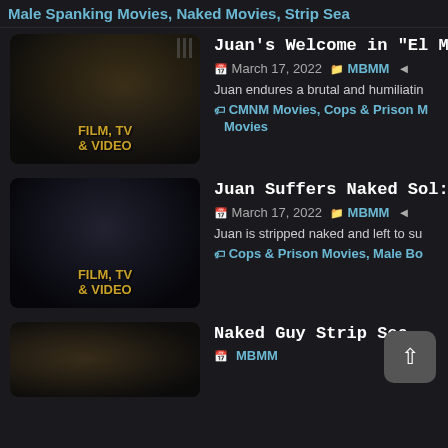Male Spanking Movies, Naked Movies, Strip Sea
Juan's Welcome in “El M
March 17, 2022  MBMM
Juan endures a brutal and humiliatin
CMNM Movies, Cops & Prison M
Movies
Juan Suffers Naked Sol:
March 17, 2022  MBMM
Juan is stripped naked and left to su
Cops & Prison Movies, Male Bo
Naked Guy Strip Sea